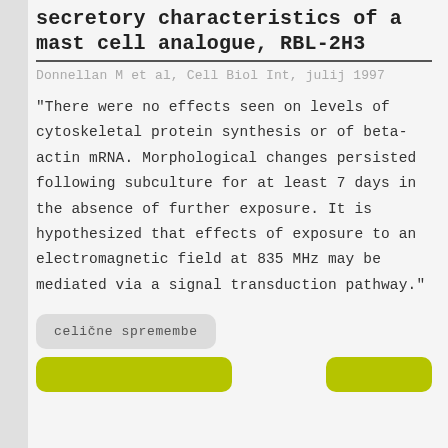secretory characteristics of a mast cell analogue, RBL-2H3
Donnellan M et al, Cell Biol Int, julij 1997
"There were no effects seen on levels of cytoskeletal protein synthesis or of beta-actin mRNA. Morphological changes persisted following subculture for at least 7 days in the absence of further exposure. It is hypothesized that effects of exposure to an electromagnetic field at 835 MHz may be mediated via a signal transduction pathway."
celične spremembe